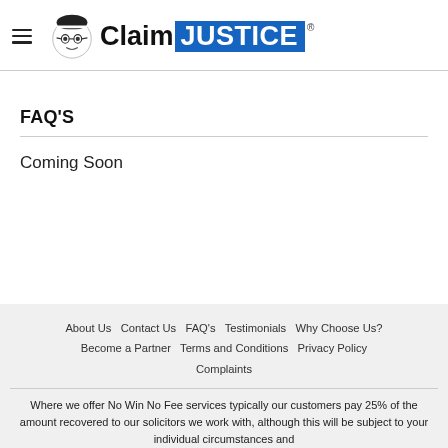[Figure (logo): ClaimJustice logo with illustrated face icon, hamburger menu icon on left, 'Claim' in black and 'JUSTICE' in white on blue background, registered trademark symbol]
FAQ'S
Coming Soon
About Us  Contact Us  FAQ's  Testimonials  Why Choose Us?  Become a Partner  Terms and Conditions  Privacy Policy  Complaints

Where we offer No Win No Fee services typically our customers pay 25% of the amount recovered to our solicitors we work with, although this will be subject to your individual circumstances and